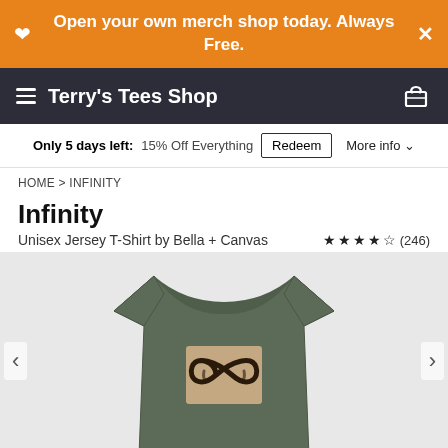Open your own merch shop today. Always Free.
Terry's Tees Shop
Only 5 days left: 15% Off Everything  Redeem  More info
HOME > INFINITY
Infinity
Unisex Jersey T-Shirt by Bella + Canvas  ★★★★½ (246)
[Figure (photo): Grey unisex jersey t-shirt with an infinity symbol graphic printed on the chest, shown on a white background]